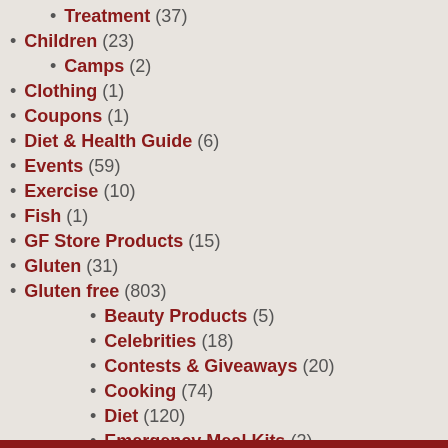Treatment (37)
Children (23)
Camps (2)
Clothing (1)
Coupons (1)
Diet & Health Guide (6)
Events (59)
Exercise (10)
Fish (1)
GF Store Products (15)
Gluten (31)
Gluten free (803)
Beauty Products (5)
Celebrities (18)
Contests & Giveaways (20)
Cooking (74)
Diet (120)
Emergency Meal Kits (2)
Events (25)